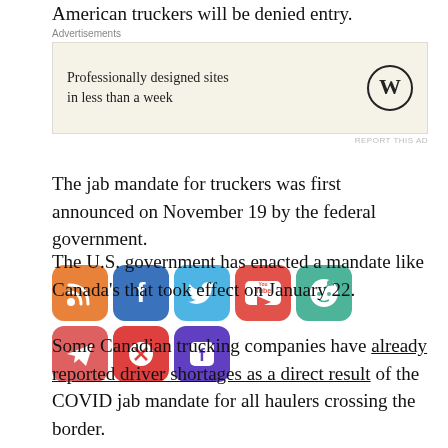American truckers will be denied entry.
[Figure (other): Advertisement block: Professionally designed sites in less than a week, with WordPress logo]
The jab mandate for truckers was first announced on November 19 by the federal government.
[Figure (other): Social media sharing icons: RSS, Facebook, Twitter, YouTube, Reddit, Telegram, PayPal, Gab]
The U.S. government has enacted a mandate like Canada’s that took effect on January 22.
Some Canadian trucking companies have already reported driver shortages as a direct result of the COVID jab mandate for all haulers crossing the border.